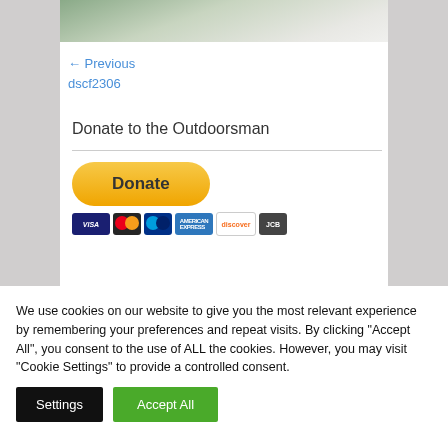[Figure (photo): Partial photo of a person visible at top of page, cropped]
← Previous
dscf2306
Donate to the Outdoorsman
[Figure (other): PayPal Donate button with payment icons (Visa, Mastercard, Discover, etc.)]
We use cookies on our website to give you the most relevant experience by remembering your preferences and repeat visits. By clicking "Accept All", you consent to the use of ALL the cookies. However, you may visit "Cookie Settings" to provide a controlled consent.